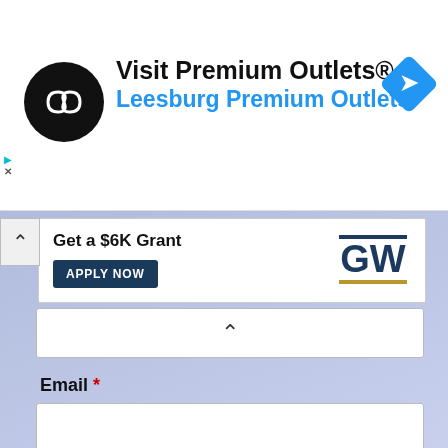[Figure (screenshot): Advertisement banner for Premium Outlets with circular logo, text 'Visit Premium Outlets® Leesburg Premium Outlets', and navigation icon]
[Figure (screenshot): GW University banner ad with 'Get a $6K Grant' text and APPLY NOW button]
Email *
Submit